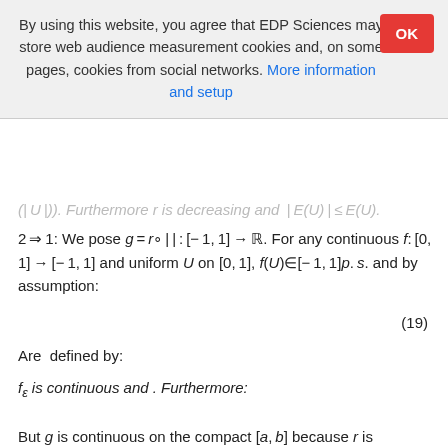By using this website, you agree that EDP Sciences may store web audience measurement cookies and, on some pages, cookies from social networks. More information and setup
(| U |)). Furthermore r is decreasing and | E(U) | ≤ E(U).
2 ⇒ 1: We pose g = r ∘ | | : [− 1, 1] → ℝ. For any continuous f: [0, 1] → [− 1, 1] and uniform U on [0, 1], f(U) ∈ [− 1, 1] p. s. and by assumption:
Are  defined by:
f_ε is continuous and . Furthermore:
But g is continuous on the compact [a, b] because r is continuous, it thus reaches a minimum m ∈ ℝ and